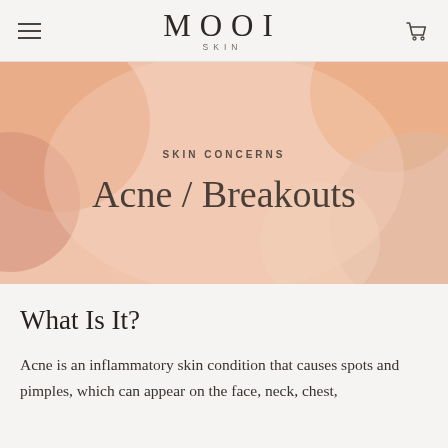MOOI SKIN
[Figure (illustration): Soft peach/salmon toned hero banner with abstract blurred circular shapes in warm orange and pink tones, featuring centered text overlaid]
SKIN CONCERNS
Acne / Breakouts
What Is It?
Acne is an inflammatory skin condition that causes spots and pimples, which can appear on the face, neck, chest,